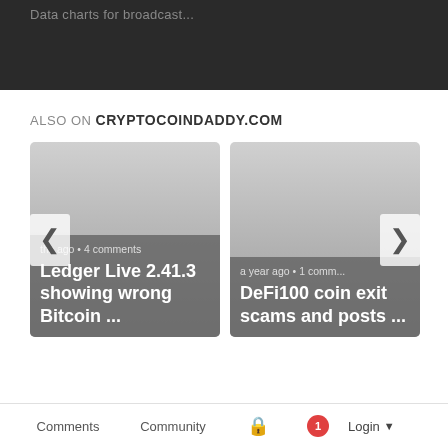Data charts for broadcast...
ALSO ON CRYPTOCOINDADDY.COM
[Figure (screenshot): Card with text: 'months ago • 4 comments' and title 'Ledger Live 2.41.3 showing wrong Bitcoin ...']
[Figure (screenshot): Card with text: 'a year ago • 1 comm...' and title 'DeFi100 coin exit scams and posts ...']
Comments  Community  Login